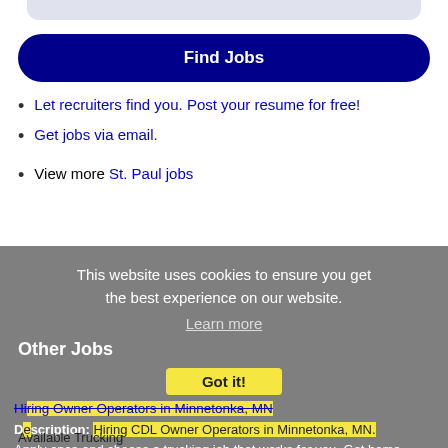[Figure (other): Top rounded bar/search field background element]
Find Jobs
Let recruiters find you. Post your resume for free!
Get jobs via email.
View more St. Paul jobs
This website uses cookies to ensure you get the best experience on our website.
Learn more
Other Jobs
Got it!
Hiring Owner Operators in Minnetonka, MN
Description: Hiring CDL Owner Operators in Minnetonka, MN. Apply once and choose a trucking job that works for you. Get home when you want to, and get paid what you deserve br
Available Trucking